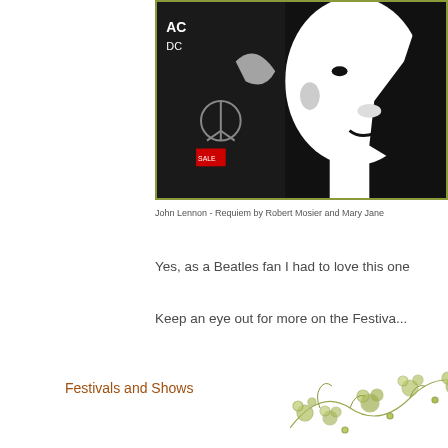[Figure (photo): Black and white photo of a John Lennon mural or artwork showing a stylized profile silhouette with peace symbol elements]
John Lennon - Requiem by Robert Mosier and Mary Jane
Yes, as a Beatles fan I had to love this one
Keep an eye out for more on the Festiva...
Festivals and Shows